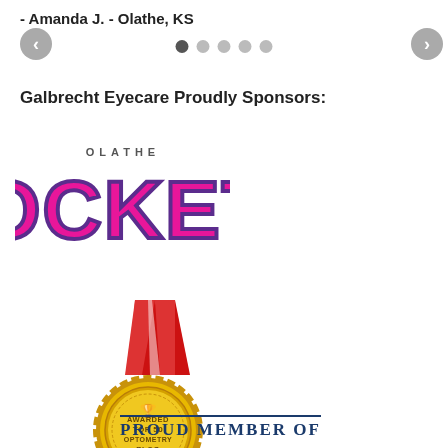- Amanda J. - Olathe, KS
Galbrecht Eyecare Proudly Sponsors:
[Figure (logo): Olathe Rockets logo in pink and purple block letters with arched 'Olathe' text above]
[Figure (logo): Gold medal badge with red and white ribbon, text reads: AWARDED TOP 50 OPTOMETRY BLOG]
PROUD MEMBER OF